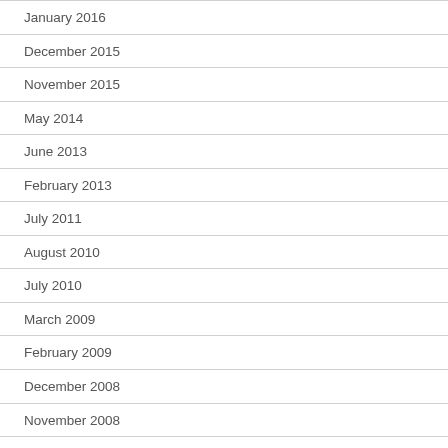January 2016
December 2015
November 2015
May 2014
June 2013
February 2013
July 2011
August 2010
July 2010
March 2009
February 2009
December 2008
November 2008
March 2008